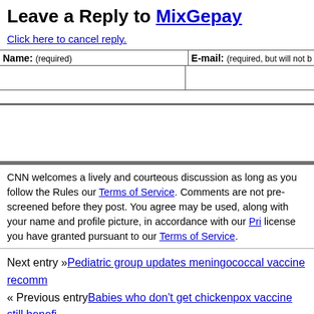Leave a Reply to MixGepay
Click here to cancel reply.
| Name: (required) | E-mail: (required, but will not… |
| --- | --- |
|  |  |
CNN welcomes a lively and courteous discussion as long as you follow the Rules our Terms of Service. Comments are not pre-screened before they post. You agree may be used, along with your name and profile picture, in accordance with our Pri license you have granted pursuant to our Terms of Service.
Next entry »Pediatric group updates meningococcal vaccine recomm
« Previous entryBabies who don't get chickenpox vaccine still benefi